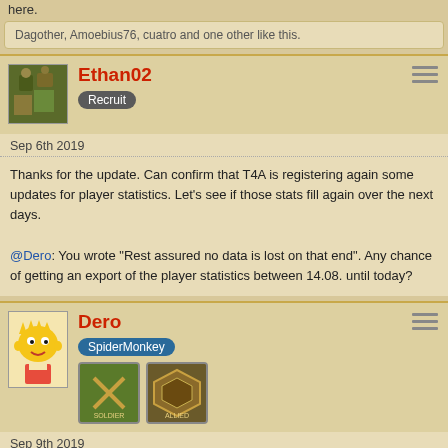here.
Dagother, Amoebius76, cuatro and one other like this.
Ethan02 — Recruit
Sep 6th 2019
Thanks for the update. Can confirm that T4A is registering again some updates for player statistics. Let's see if those stats fill again over the next days.

@Dero: You wrote "Rest assured no data is lost on that end". Any chance of getting an export of the player statistics between 14.08. until today?
Dero — SpiderMonkey
Sep 9th 2019